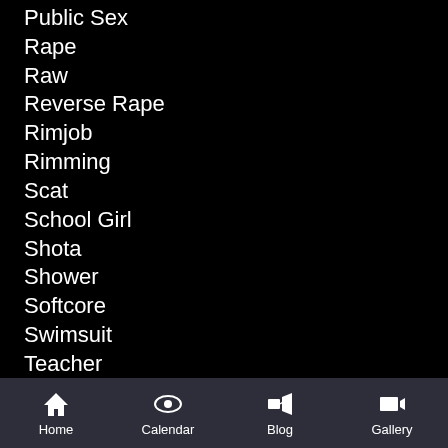Public Sex
Rape
Raw
Reverse Rape
Rimjob
Rimming
Scat
School Girl
Shota
Shower
Softcore
Swimsuit
Teacher
Tentacle
Tentacles
Threesome
Home   Calendar   Blog   Gallery